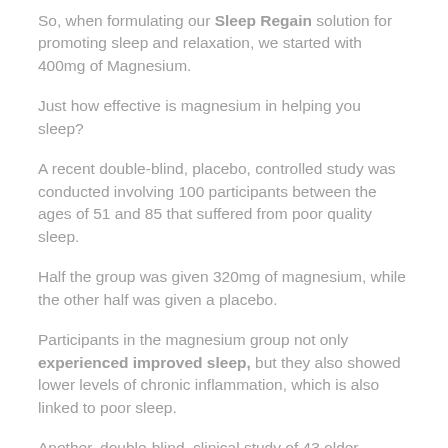So, when formulating our Sleep Regain solution for promoting sleep and relaxation, we started with 400mg of Magnesium.
Just how effective is magnesium in helping you sleep?
A recent double-blind, placebo, controlled study was conducted involving 100 participants between the ages of 51 and 85 that suffered from poor quality sleep.
Half the group was given 320mg of magnesium, while the other half was given a placebo.
Participants in the magnesium group not only experienced improved sleep, but they also showed lower levels of chronic inflammation, which is also linked to poor sleep.
Another, double-blind, clinical study of 43 older subjects were randomly assigned either 500mg of magnesium or a placebo for eight weeks.